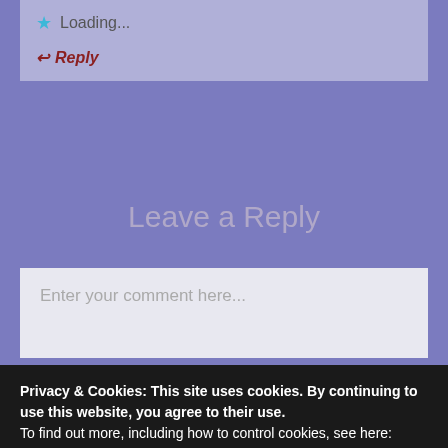Loading...
Reply
Leave a Reply
Enter your comment here...
This site uses Akismet to reduce spam. Learn how your c...
Privacy & Cookies: This site uses cookies. By continuing to use this website, you agree to their use.
To find out more, including how to control cookies, see here: Cookie Policy
Close and accept